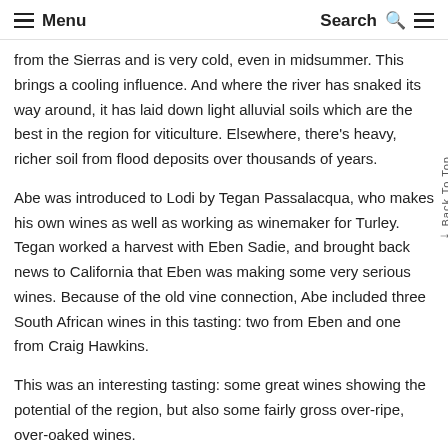≡ Menu   Search Q ≡
from the Sierras and is very cold, even in midsummer. This brings a cooling influence. And where the river has snaked its way around, it has laid down light alluvial soils which are the best in the region for viticulture. Elsewhere, there's heavy, richer soil from flood deposits over thousands of years.
Abe was introduced to Lodi by Tegan Passalacqua, who makes his own wines as well as working as winemaker for Turley. Tegan worked a harvest with Eben Sadie, and brought back news to California that Eben was making some very serious wines. Because of the old vine connection, Abe included three South African wines in this tasting: two from Eben and one from Craig Hawkins.
This was an interesting tasting: some great wines showing the potential of the region, but also some fairly gross over-ripe, over-oaked wines.
Sadie Family Mev Kirsten Chenin Blanc 2016 Stellenbosch, South Africa
Planted in 1905. Complex and intense with lovely ripe pear and peach notes, as a bit of apple. Has a fine spiciness here with a lovely acid streak. Real